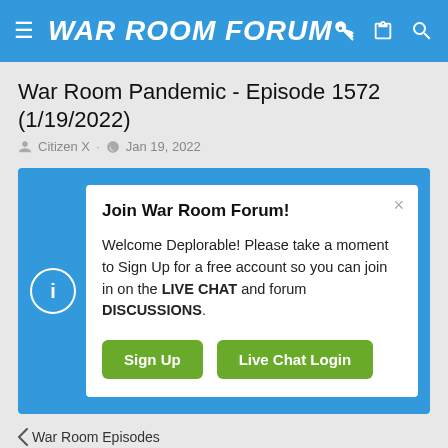WAR ROOM FORUM
War Room Pandemic - Episode 1572 (1/19/2022)
Citizen X · Jan 19, 2022
Join War Room Forum!

Welcome Deplorable! Please take a moment to Sign Up for a free account so you can join in on the LIVE CHAT and forum DISCUSSIONS.

[Sign Up] [Live Chat Login]
War Room Episodes